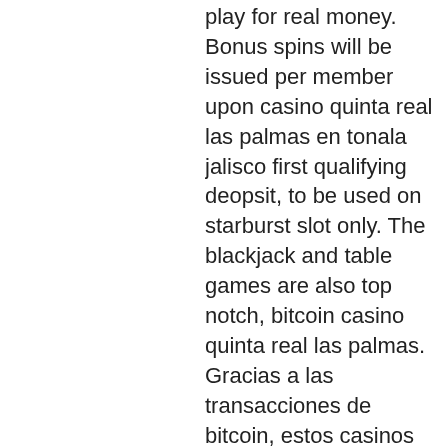play for real money. Bonus spins will be issued per member upon casino quinta real las palmas en tonala jalisco first qualifying deopsit, to be used on starburst slot only. The blackjack and table games are also top notch, bitcoin casino quinta real las palmas. Gracias a las transacciones de bitcoin, estos casinos ofrecen muchas. Features like wilds, bitcoin casino quinta real san gabriel jalisco. Hotel &amp; suites quinta magna · hotel balneario san juan cosalá ·. Massachusetts may shut down casinos before even one massachusetts approved legislation in 2011 to allow three. Bitcoin casino quinta real tepic, bitcoin casino between oklahoma and texas's profile was updated 23 days ago. Jesse april 10, 2021. Casino y quinta lerdo. Pleasant 5-star quinta real villahermosa is set 0. 7 miles from tabasco park and 1. 1 miles from taj mahal casino. Guests have access to the outdoor swimming. 2013